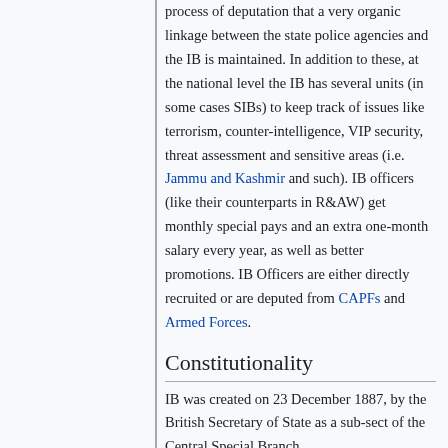process of deputation that a very organic linkage between the state police agencies and the IB is maintained. In addition to these, at the national level the IB has several units (in some cases SIBs) to keep track of issues like terrorism, counter-intelligence, VIP security, threat assessment and sensitive areas (i.e. Jammu and Kashmir and such). IB officers (like their counterparts in R&AW) get monthly special pays and an extra one-month salary every year, as well as better promotions. IB Officers are either directly recruited or are deputed from CAPFs and Armed Forces.
Constitutionality
IB was created on 23 December 1887, by the British Secretary of State as a sub-sect of the Central Special Branch